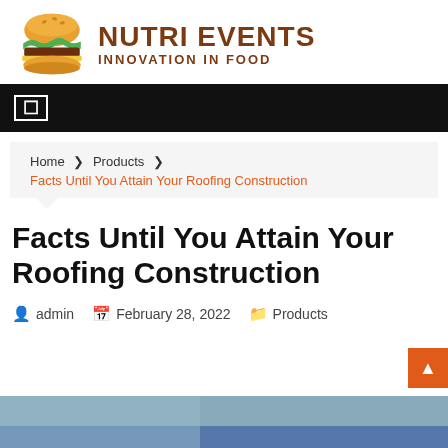[Figure (logo): Nutri Events logo: burger illustration with text 'NUTRI EVENTS INNOVATION IN FOOD' in brown]
☰ (navigation bar)
Home › Products › Facts Until You Attain Your Roofing Construction
Facts Until You Attain Your Roofing Construction
admin   February 28, 2022   Products
[Figure (photo): Partial image at bottom of page, appears to be a roofing/construction photo]